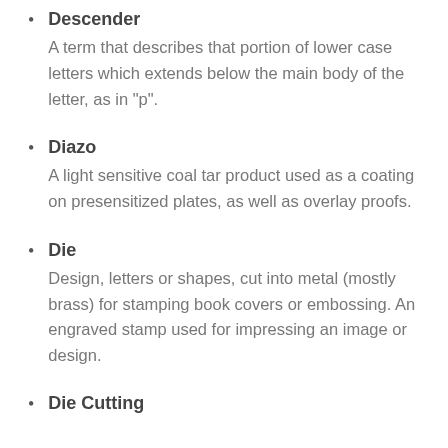Descender
A term that describes that portion of lower case letters which extends below the main body of the letter, as in "p".
Diazo
A light sensitive coal tar product used as a coating on presensitized plates, as well as overlay proofs.
Die
Design, letters or shapes, cut into metal (mostly brass) for stamping book covers or embossing. An engraved stamp used for impressing an image or design.
Die Cutting